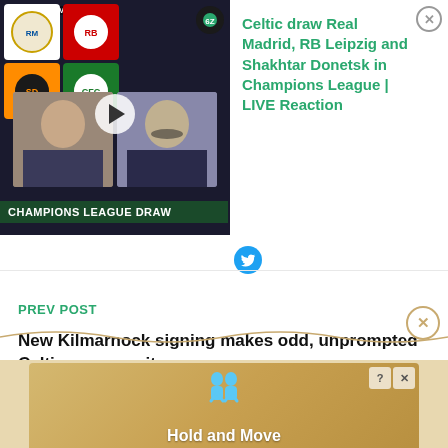[Figure (screenshot): Video thumbnail showing Champions League Draw with club logos (Real Madrid, RB Leipzig, Shakhtar Donetsk, Celtic) and two hosts, labeled '67 Hail Hail Live']
Celtic draw Real Madrid, RB Leipzig and Shakhtar Donetsk in Champions League | LIVE Reaction
PREV POST
New Kilmarnock signing makes odd, unprompted Celtic non-sequitur
[Figure (screenshot): Advertisement banner showing 'Hold and Move' app with cartoon figures]